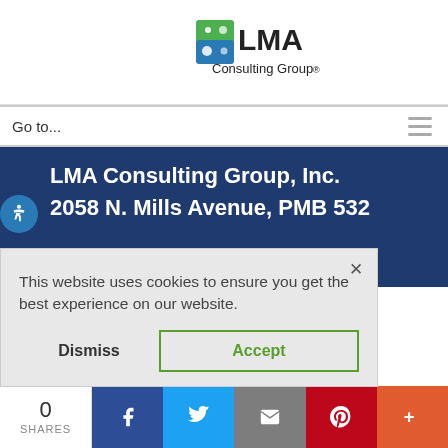[Figure (logo): LMA Consulting Group logo with green and blue icon and text]
Go to...
LMA Consulting Group, Inc.
2058 N. Mills Avenue, PMB 532
This website uses cookies to ensure you get the best experience on our website.
Dismiss  Accept
0
SHARES